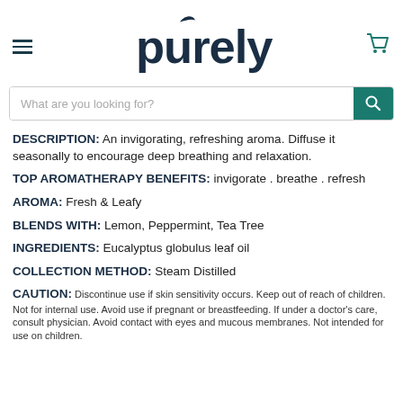purely (logo with hamburger menu and cart icon)
What are you looking for? (search bar)
DESCRIPTION: An invigorating, refreshing aroma. Diffuse it seasonally to encourage deep breathing and relaxation.
TOP AROMATHERAPY BENEFITS: invigorate . breathe . refresh
AROMA: Fresh & Leafy
BLENDS WITH: Lemon, Peppermint, Tea Tree
INGREDIENTS: Eucalyptus globulus leaf oil
COLLECTION METHOD: Steam Distilled
CAUTION: Discontinue use if skin sensitivity occurs. Keep out of reach of children. Not for internal use. Avoid use if pregnant or breastfeeding. If under a doctor's care, consult physician. Avoid contact with eyes and mucous membranes. Not intended for use on children.